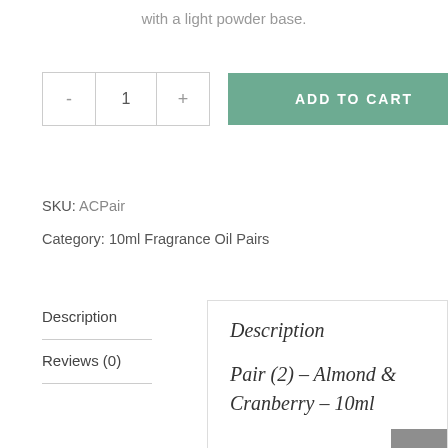with a light powder base.
- 1 +  ADD TO CART
SKU: ACPair
Category: 10ml Fragrance Oil Pairs
Description
Reviews (0)
Description
Pair (2) – Almond & Cranberry – 10ml